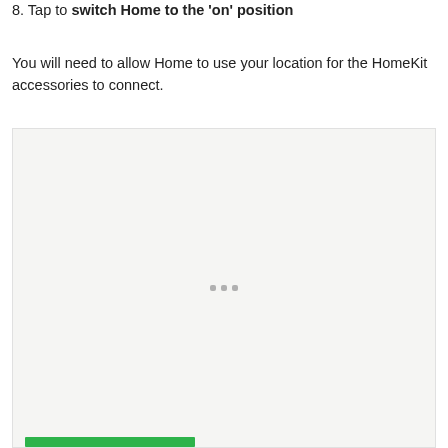8. Tap to switch Home to the 'on' position
You will need to allow Home to use your location for the HomeKit accessories to connect.
[Figure (screenshot): A screenshot placeholder with a light gray background, three small gray dots centered in the middle, and a green bar at the bottom left.]